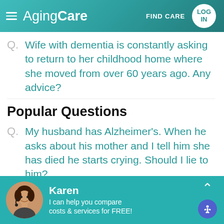AgingCare — FIND CARE — LOG IN
Q. Wife with dementia is constantly asking to return to her childhood home where she moved from over 60 years ago. Any advice?
Popular Questions
Q. My husband has Alzheimer's. When he asks about his mother and I tell him she has died he starts crying. Should I lie to him?
Karen — I can help you compare costs & services for FREE!